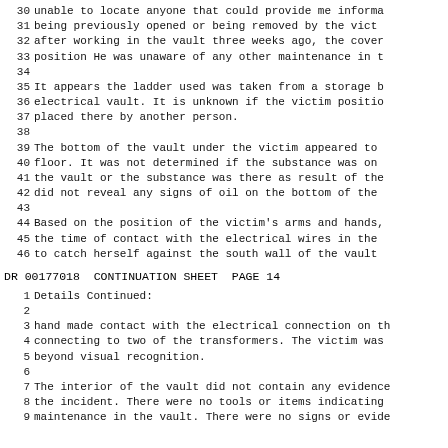30  unable to locate anyone that could provide me informa-
31  being previously opened or being removed by the vict-
32  after working in the vault three weeks ago, the cover
33  position He was unaware of any other maintenance in t-
34
35  It appears the ladder used was taken from a storage b-
36  electrical vault. It is unknown if the victim positio-
37  placed there by another person.
38
39  The bottom of the vault under the victim appeared to
40  floor. It was not determined if the substance was on
41  the vault or the substance was there as result of the-
42  did not reveal any signs of oil on the bottom of the-
43
44  Based on the position of the victim's arms and hands,
45  the time of contact with the electrical wires in the
46  to catch herself against the south wall of the vault
DR 00177018  CONTINUATION SHEET  PAGE 14
1   Details Continued:
2
3   hand made contact with the electrical connection on th-
4   connecting to two of the transformers. The victim was
5   beyond visual recognition.
6
7   The interior of the vault did not contain any evidence
8   the incident. There were no tools or items indicating
9   maintenance in the vault. There were no signs or evide-